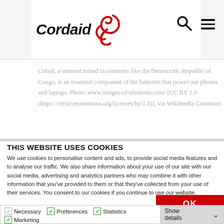Cordaid [logo]
Cobalt, a mineral mined in countries like the Democratic Republic of Congo, is an essential component of the batteries that power our phones and laptops. Photo: www.images-of-elements.com/ [CC BY 1.0 (https://creativecommons.org/licenses/by/1.0)], via Wikimedia Commons
THIS WEBSITE USES COOKIES
We use cookies to personalise content and ads, to provide social media features and to analyse our traffic. We also share information about your use of our site with our social media, advertising and analytics partners who may combine it with other information that you've provided to them or that they've collected from your use of their services. You consent to our cookies if you continue to use our website.
OK
Necessary  Preferences  Statistics  Marketing  Show details